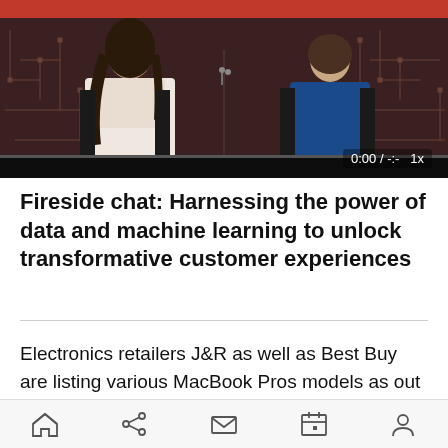[Figure (screenshot): Video player showing a fireside chat with two women seated on stage in front of a circuit-board patterned backdrop. Video controls show 0:00 / -:- and 1x playback speed.]
Fireside chat: Harnessing the power of data and machine learning to unlock transformative customer experiences
Electronics retailers J&R as well as Best Buy are listing various MacBook Pros models as out of stock, according to Apple Insider. J&R in particular
Home | Share | Mail | Calendar | Profile